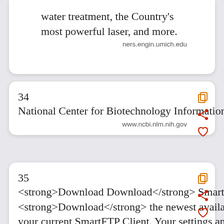water treatment, the Country's most powerful laser, and more.
ners.engin.umich.edu
34  National Center for Biotechnology Information
www.ncbi.nlm.nih.gov
35  <strong>Download Download</strong> SmartFTP Client Setup. <strong>Download</strong> the newest available version or upgrade your current SmartFTP Client. Your settings and data files will be kept when upgrading.
www.smartftp.com